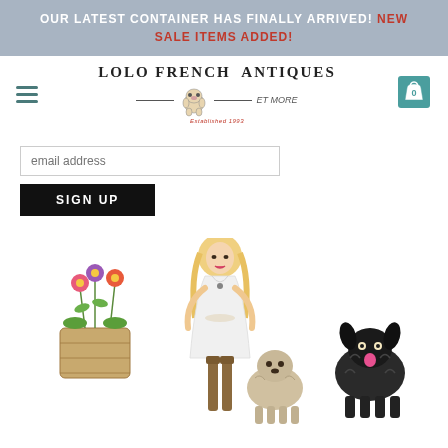OUR LATEST CONTAINER HAS FINALLY ARRIVED! NEW SALE ITEMS ADDED!
[Figure (logo): Lolo French Antiques et More logo with bulldog mascot, established 1993]
email address
SIGN UP
[Figure (illustration): Illustration of a blonde woman in white dress with a basket of flowers and two dogs]